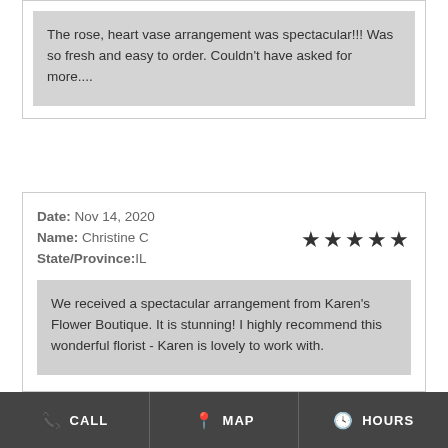The rose, heart vase arrangement was spectacular!!! Was so fresh and easy to order. Couldn't have asked for more....
Date: Nov 14, 2020
Name: Christine C
State/Province: IL
We received a spectacular arrangement from Karen's Flower Boutique. It is stunning! I highly recommend this wonderful florist - Karen is lovely to work with.
Date: Oct 03, 2020
CALL   MAP   HOURS